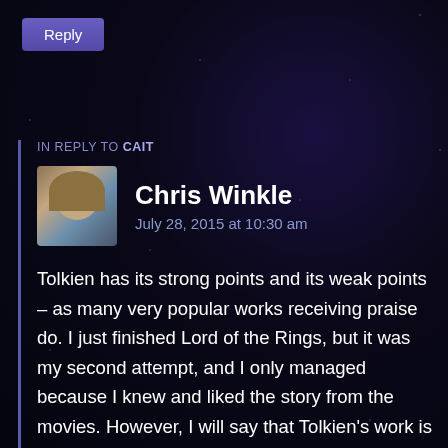Reply
IN REPLY TO CAIT
Chris Winkle
July 28, 2015 at 10:30 am
Tolkien has its strong points and its weak points – as many very popular works receiving praise do. I just finished Lord of the Rings, but it was my second attempt, and I only managed because I knew and liked the story from the movies. However, I will say that Tolkien's work is vastly superior to imitators such as Paolini and Brooks – at least the portions of their work I've read.